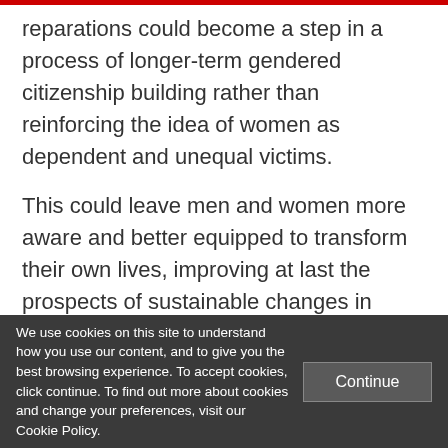reparations could become a step in a process of longer-term gendered citizenship building rather than reinforcing the idea of women as dependent and unequal victims.
This could leave men and women more aware and better equipped to transform their own lives, improving at last the prospects of sustainable changes in structural gender inequality.
We use cookies on this site to understand how you use our content, and to give you the best browsing experience. To accept cookies, click continue. To find out more about cookies and change your preferences, visit our Cookie Policy.